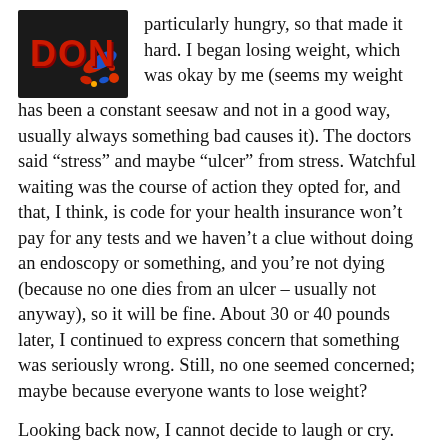[Figure (logo): DON logo with red text on dark background and colorful pills/capsules graphic]
particularly hungry, so that made it hard. I began losing weight, which was okay by me (seems my weight has been a constant seesaw and not in a good way, usually always something bad causes it). The doctors said “stress” and maybe “ulcer” from stress. Watchful waiting was the course of action they opted for, and that, I think, is code for your health insurance won’t pay for any tests and we haven’t a clue without doing an endoscopy or something, and you’re not dying (because no one dies from an ulcer – usually not anyway), so it will be fine. About 30 or 40 pounds later, I continued to express concern that something was seriously wrong. Still, no one seemed concerned; maybe because everyone wants to lose weight?
Looking back now, I cannot decide to laugh or cry. Doctors were telling me stress was causing me to